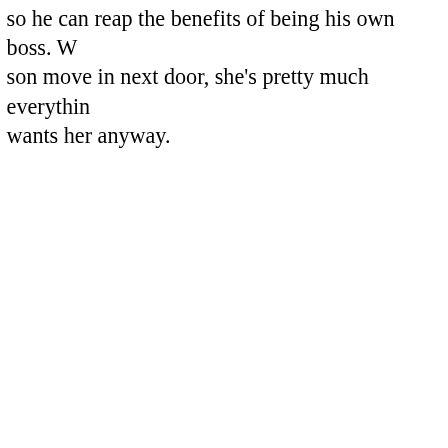so he can reap the benefits of being his own boss. W son move in next door, she's pretty much everythin wants her anyway.
[Figure (screenshot): A red advertisement banner showing a smartphone displaying a podcast app with 'Dis-trib-uted' text on screen. Right side shows partial text 'An ap listeners liste' and a 'Downlo' button. Partial 'ke' text visible at bottom right.]
Privacy & Cookies: This site uses cookies. By continuing to use this website, you agree to their use.
To find out more, including how to control cookies, see here: Cookie Policy
Close and accept